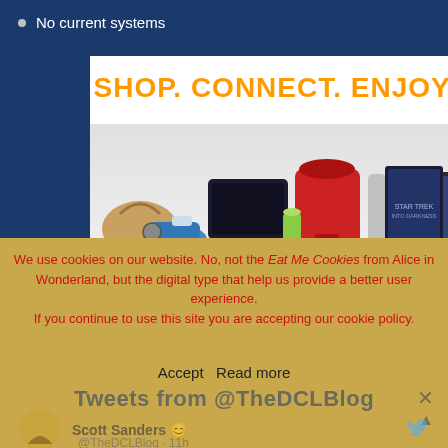No current systems
[Figure (illustration): Amazon advertisement with products (handbag, PS4, KitchenAid mixer, Kindle tablet, Star Trek DVD), text 'SHOP. CONNECT. ENJOY.', tagline 'All from Earth's biggest selection.' and Amazon logo with smile arrow. Privacy link shown bottom left.]
We use cookies on our website. No, not the Eat Me Cookies from Alice in Wonderland, but the digital type that help us provide a better user experience. If you continue to use this site you are accepting our cookie policy.
Tweets from @TheDCLBlog
Scott Sanders
@TheDCLBlog · 11h
Accept  Read more